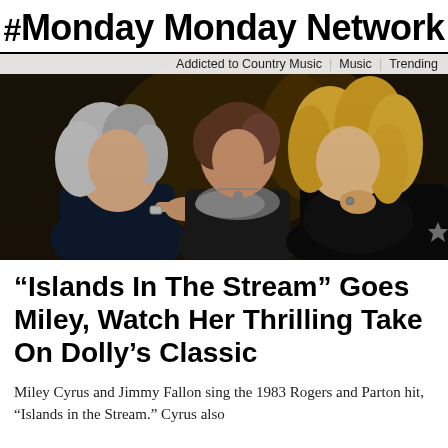# Monday Monday Network
[Figure (photo): Three women at an event — one with gray hair on left in dark jacket, one in center with short brown hair, and one on right with long blonde curly hair in black patterned outfit, appearing to laugh and chat together. Navigation bar over photo reads: Addicted to Country Music | Music | Trending]
“Islands In The Stream” Goes Miley, Watch Her Thrilling Take On Dolly’s Classic
Miley Cyrus and Jimmy Fallon sing the 1983 Rogers and Parton hit, “Islands in the Stream.” Cyrus also